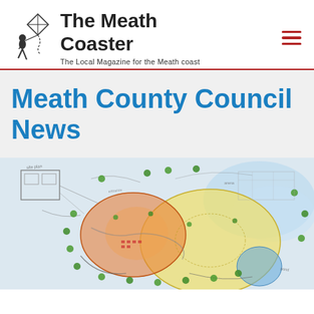The Meath Coaster — The Local Magazine for the Meath coast
Meath County Council News
[Figure (illustration): Colourful watercolour and pencil architectural sketch/plan drawing showing a proposed site layout with circular forms, orange and yellow washes, green dots representing trees, and handwritten annotations.]